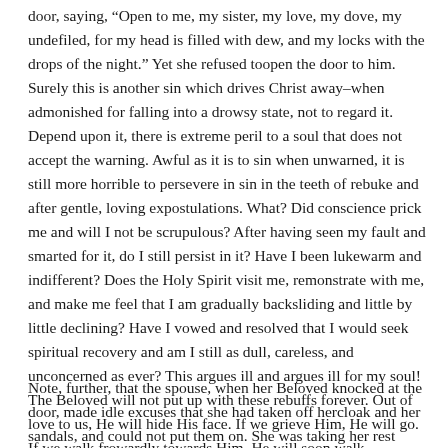door, saying, “Open to me, my sister, my love, my dove, my undefiled, for my head is filled with dew, and my locks with the drops of the night.” Yet she refused toopen the door to him. Surely this is another sin which drives Christ away–when admonished for falling into a drowsy state, not to regard it. Depend upon it, there is extreme peril to a soul that does not accept the warning. Awful as it is to sin when unwarned, it is still more horrible to persevere in sin in the teeth of rebuke and after gentle, loving expostulations. What? Did conscience prick me and will I not be scrupulous? After having seen my fault and smarted for it, do I still persist in it? Have I been lukewarm and indifferent? Does the Holy Spirit visit me, remonstrate with me, and make me feel that I am gradually backsliding and little by little declining? Have I vowed and resolved that I would seek spiritual recovery and am I still as dull, careless, and unconcerned as ever? This argues ill and argues ill for my soul! The Beloved will not put up with these rebuffs forever. Out of love to us, He will hide His face. If we grieve Him, He will go. If we walk frowardly towards Him, He will soon walk frowardly towards us. These are God-provoking sins! It is a defying of His Spirit when you thus spurn His gentle admonitions!
Note, further, that the spouse, when her Beloved knocked at the door, made idle excuses that she had taken off hercloak and her sandals, and could not put them on. She was taking her rest upon her couch and could not bring